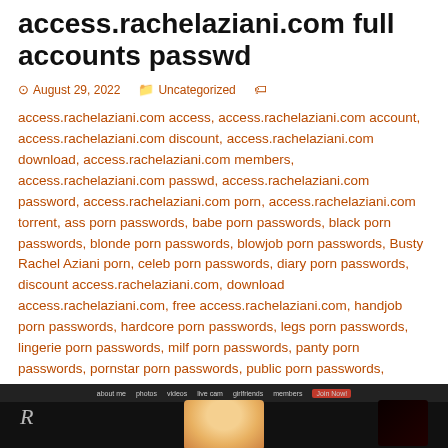access.rachelaziani.com full accounts passwd
August 29, 2022   Uncategorized
access.rachelaziani.com access, access.rachelaziani.com account, access.rachelaziani.com discount, access.rachelaziani.com download, access.rachelaziani.com members, access.rachelaziani.com passwd, access.rachelaziani.com password, access.rachelaziani.com porn, access.rachelaziani.com torrent, ass porn passwords, babe porn passwords, black porn passwords, blonde porn passwords, blowjob porn passwords, Busty Rachel Aziani porn, celeb porn passwords, diary porn passwords, discount access.rachelaziani.com, download access.rachelaziani.com, free access.rachelaziani.com, handjob porn passwords, hardcore porn passwords, legs porn passwords, lingerie porn passwords, milf porn passwords, panty porn passwords, pornstar porn passwords, public porn passwords, smoking porn passwords, squirting porn passwords, tit porn passwords, toy porn passwords
[Figure (screenshot): Screenshot of website rachelaziani.com showing navigation bar with links: about me, photos, videos, live cam, girlfriends, members, and a join now button, with a blonde woman visible]